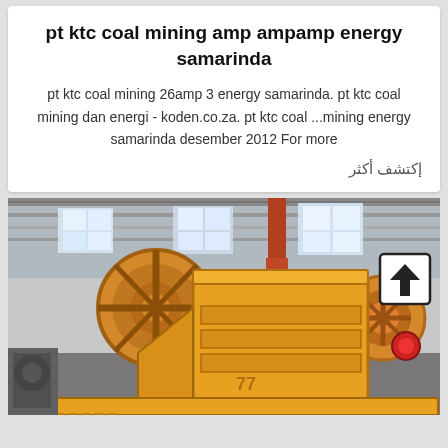pt ktc coal mining amp ampamp energy samarinda
pt ktc coal mining 26amp 3 energy samarinda. pt ktc coal mining dan energi - koden.co.za. pt ktc coal ...mining energy samarinda desember 2012 For more
إكتشف أكثر
[Figure (photo): Industrial yellow jaw crusher machine inside a large factory/warehouse with high ceilings and natural light through windows. A back-to-top arrow button overlays the top-right corner of the image.]